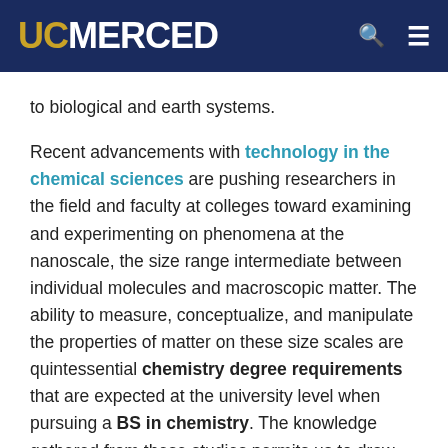UC MERCED
to biological and earth systems.
Recent advancements with technology in the chemical sciences are pushing researchers in the field and faculty at colleges toward examining and experimenting on phenomena at the nanoscale, the size range intermediate between individual molecules and macroscopic matter. The ability to measure, conceptualize, and manipulate the properties of matter on these size scales are quintessential chemistry degree requirements that are expected at the university level when pursuing a BS in chemistry. The knowledge gathered from these studies permits us to draw